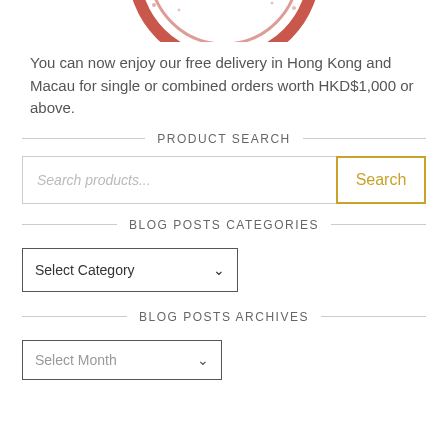[Figure (logo): Partial red circular logo/stamp at top of page]
You can now enjoy our free delivery in Hong Kong and Macau for single or combined orders worth HKD$1,000 or above.
PRODUCT SEARCH
[Figure (screenshot): Search input box with placeholder text 'Search products...' and a gold/yellow 'Search' button]
BLOG POSTS CATEGORIES
[Figure (screenshot): Dropdown selector showing 'Select Category' with down arrow]
BLOG POSTS ARCHIVES
[Figure (screenshot): Dropdown selector showing 'Select Month' with down arrow (partially visible)]